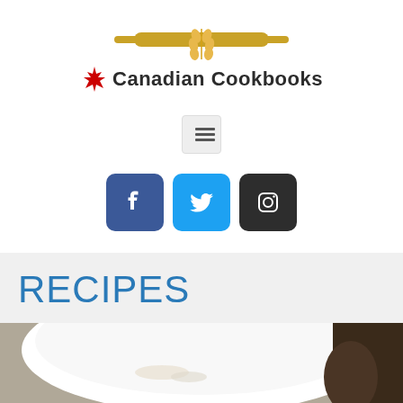[Figure (logo): Canadian Cookbooks logo with a rolling pin graphic above, a red maple leaf icon, and the text 'Canadian Cookbooks' in bold]
[Figure (other): Hamburger menu button with three horizontal lines on a light grey background]
[Figure (other): Three social media icon buttons: Facebook (blue), Twitter (light blue), Instagram (dark/black)]
RECIPES
[Figure (photo): Partial photo of a white bowl with food/ingredients, dark background visible at right]